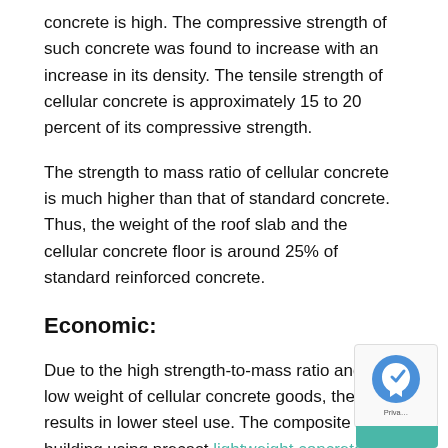concrete is high. The compressive strength of such concrete was found to increase with an increase in its density. The tensile strength of cellular concrete is approximately 15 to 20 percent of its compressive strength.
The strength to mass ratio of cellular concrete is much higher than that of standard concrete. Thus, the weight of the roof slab and the cellular concrete floor is around 25% of standard reinforced concrete.
Economic:
Due to the high strength-to-mass ratio and the low weight of cellular concrete goods, their use results in lower steel use. The composite floor building using precast lightweight concrete blocks and reinforced concrete grid beams r… substantial gains in cement and steel use.